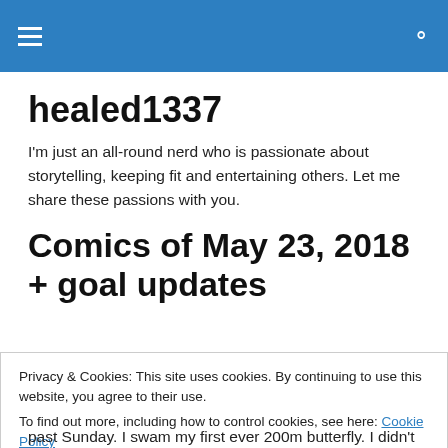healed1337 [hamburger menu icon] [search icon]
healed1337
I'm just an all-round nerd who is passionate about storytelling, keeping fit and entertaining others. Let me share these passions with you.
Comics of May 23, 2018 + goal updates
Privacy & Cookies: This site uses cookies. By continuing to use this website, you agree to their use.
To find out more, including how to control cookies, see here: Cookie Policy
[Close and accept button]
past Sunday. I swam my first ever 200m butterfly. I didn't